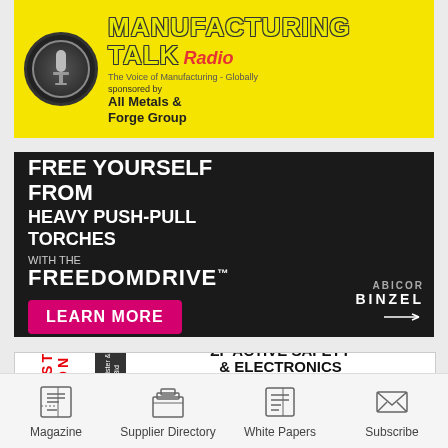[Figure (illustration): Manufacturing Talk Radio advertisement with yellow background, microphone, and text 'MANUFACTURING TALK Radio sponsored by All Metals & Forge Group. The Voice of Manufacturing - Globally']
[Figure (illustration): FreedomDrive advertisement with dark background showing welding torch equipment. Text: 'FREE YOURSELF FROM HEAVY PUSH-PULL TORCHES WITH THE FREEDOMDRIVE™ LEARN MORE' with Abicor Binzel logo]
[Figure (illustration): Webcast Auction advertisement for ZF Active Safety & Electronics, Complete Liquidation of 300,000 SQ. FT. Plant, 4-DAY AUCTION 9/27-9/30, Myron Bowling Auctioneers Inc., Lebanon Tennessee, 513/738-3311, MyronBowling.com]
Magazine | Supplier Directory | White Papers | Subscribe